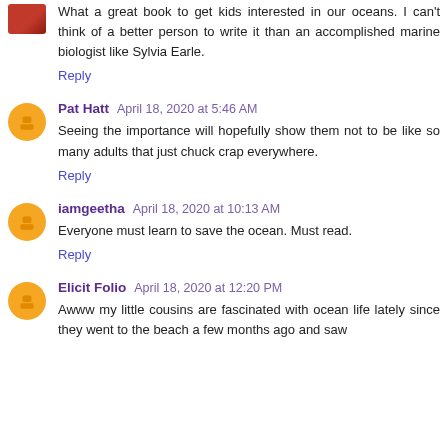What a great book to get kids interested in our oceans. I can't think of a better person to write it than an accomplished marine biologist like Sylvia Earle.
Reply
Pat Hatt  April 18, 2020 at 5:46 AM
Seeing the importance will hopefully show them not to be like so many adults that just chuck crap everywhere.
Reply
iamgeetha  April 18, 2020 at 10:13 AM
Everyone must learn to save the ocean. Must read.
Reply
Elicit Folio  April 18, 2020 at 12:20 PM
Awww my little cousins are fascinated with ocean life lately since they went to the beach a few months ago and saw